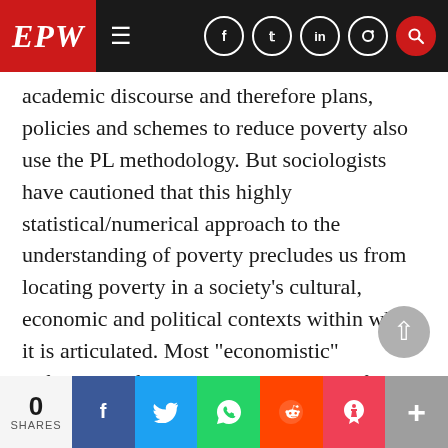EPW
academic discourse and therefore plans, policies and schemes to reduce poverty also use the PL methodology. But sociologists have cautioned that this highly statistical/numerical approach to the understanding of poverty precludes us from locating poverty in a society’s cultural, economic and political contexts within which it is articulated. Most “economistic” definitions of poverty centre on a set of basic (minimum) needs. Sociologists argue that a definition of poverty in terms of insufficient satisfaction of basic needs begs other questions like “What are basic needs?” and “What level of
0 SHARES